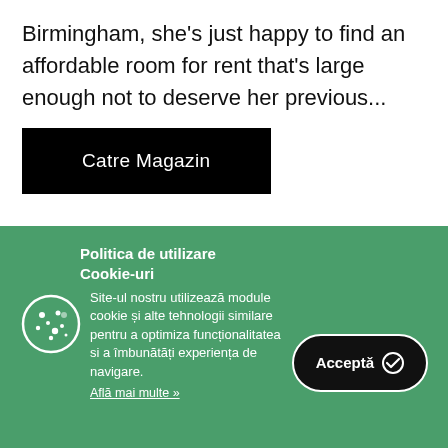Birmingham, she's just happy to find an affordable room for rent that's large enough not to deserve her previous...
Catre Magazin
Politica de utilizare Cookie-uri
Site-ul nostru utilizează module cookie și alte tehnologii similare pentru a optimiza funcționalitatea si a îmbunătăți experiența de navigare.
Află mai multe »
Acceptă ✓